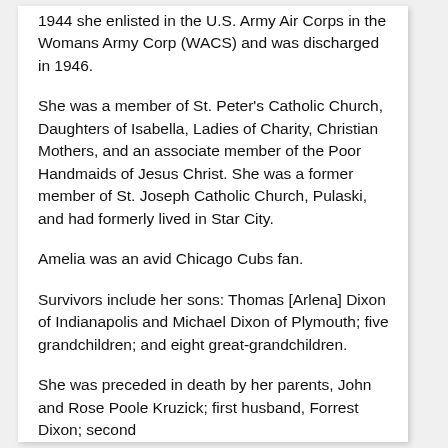1944 she enlisted in the U.S. Army Air Corps in the Womans Army Corp (WACS) and was discharged in 1946.
She was a member of St. Peter's Catholic Church, Daughters of Isabella, Ladies of Charity, Christian Mothers, and an associate member of the Poor Handmaids of Jesus Christ. She was a former member of St. Joseph Catholic Church, Pulaski, and had formerly lived in Star City.
Amelia was an avid Chicago Cubs fan.
Survivors include her sons: Thomas [Arlena] Dixon of Indianapolis and Michael Dixon of Plymouth; five grandchildren; and eight great-grandchildren.
She was preceded in death by her parents, John and Rose Poole Kruzick; first husband, Forrest Dixon; second